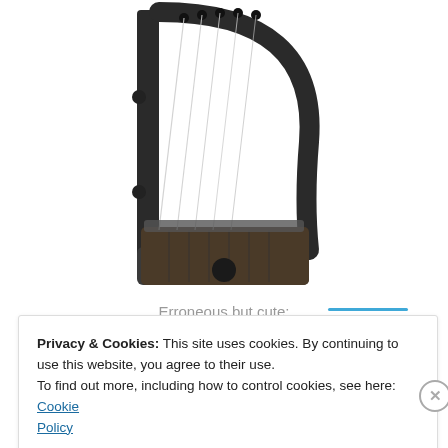[Figure (photo): Black and white photograph of an ancient harp reconstruction — a small stringed instrument with a curved dark wooden frame and multiple strings]
Erroneous but cute: the first attempt at a re-construction
Privacy & Cookies: This site uses cookies. By continuing to use this website, you agree to their use.
To find out more, including how to control cookies, see here: Cookie Policy
Close and accept